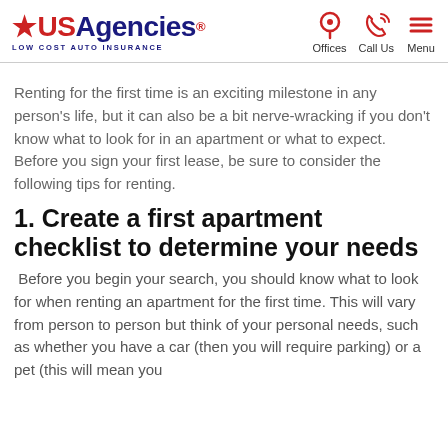USAgencies LOW COST AUTO INSURANCE — Offices | Call Us | Menu
Renting for the first time is an exciting milestone in any person's life, but it can also be a bit nerve-wracking if you don't know what to look for in an apartment or what to expect. Before you sign your first lease, be sure to consider the following tips for renting.
1. Create a first apartment checklist to determine your needs
Before you begin your search, you should know what to look for when renting an apartment for the first time. This will vary from person to person but think of your personal needs, such as whether you have a car (then you will require parking) or a pet (this will mean you